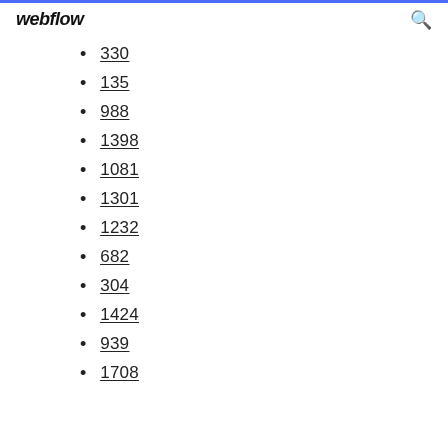webflow
330
135
988
1398
1081
1301
1232
682
304
1424
939
1708